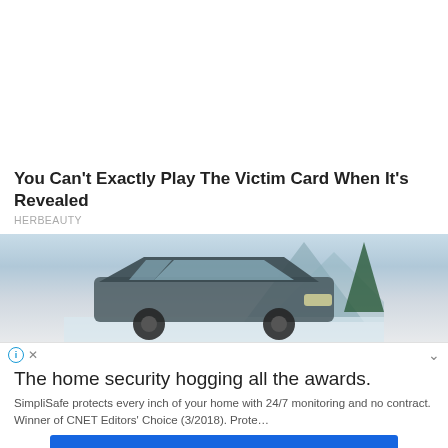You Can't Exactly Play The Victim Card When It's Revealed
HERBEAUTY
[Figure (photo): A car in a snowy winter landscape with mountains and trees in the background]
The home security hogging all the awards.
SimpliSafe protects every inch of your home with 24/7 monitoring and no contract. Winner of CNET Editors' Choice (3/2018). Prote…
continue